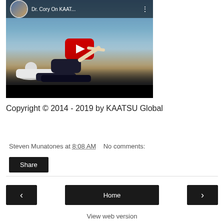[Figure (screenshot): YouTube video thumbnail showing 'Dr. Cory On KAAT...' with a YouTube play button overlay. The video shows a person lying on a beach with legs raised. The top bar shows a channel icon, video title, and options button.]
Copyright © 2014 - 2019 by KAATSU Global
Steven Munatones at 8:08 AM   No comments:
Share
‹
Home
›
View web version